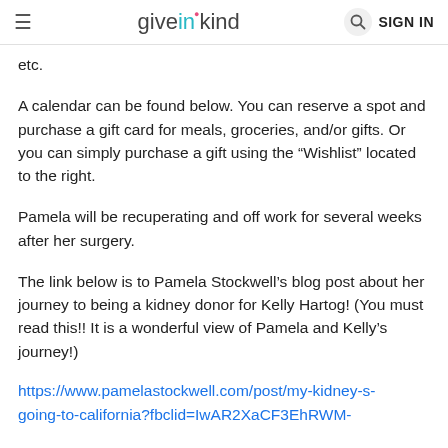give in kind   SIGN IN
etc.
A calendar can be found below. You can reserve a spot and purchase a gift card for meals, groceries, and/or gifts. Or you can simply purchase a gift using the “Wishlist” located to the right.
Pamela will be recuperating and off work for several weeks after her surgery.
The link below is to Pamela Stockwell’s blog post about her journey to being a kidney donor for Kelly Hartog! (You must read this!! It is a wonderful view of Pamela and Kelly’s journey!)
https://www.pamelastockwell.com/post/my-kidney-s-going-to-california?fbclid=IwAR2XaCF3EhRWM-